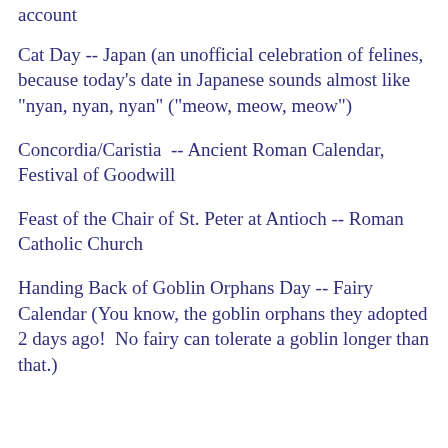account
Cat Day -- Japan (an unofficial celebration of felines, because today's date in Japanese sounds almost like "nyan, nyan, nyan" ("meow, meow, meow")
Concordia/Caristia  -- Ancient Roman Calendar, Festival of Goodwill
Feast of the Chair of St. Peter at Antioch -- Roman Catholic Church
Handing Back of Goblin Orphans Day -- Fairy Calendar (You know, the goblin orphans they adopted 2 days ago!  No fairy can tolerate a goblin longer than that.)